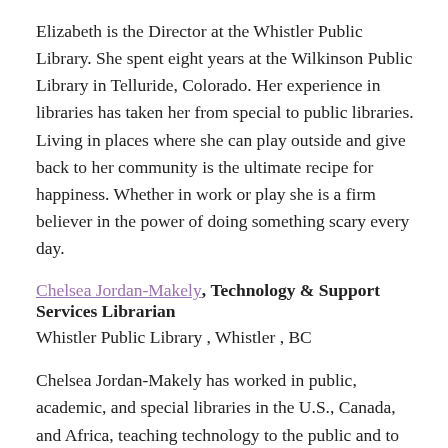Elizabeth is the Director at the Whistler Public Library. She spent eight years at the Wilkinson Public Library in Telluride, Colorado. Her experience in libraries has taken her from special to public libraries. Living in places where she can play outside and give back to her community is the ultimate recipe for happiness. Whether in work or play she is a firm believer in the power of doing something scary every day.
Chelsea Jordan-Makely, Technology & Support Services Librarian
Whistler Public Library , Whistler , BC
Chelsea Jordan-Makely has worked in public, academic, and special libraries in the U.S., Canada, and Africa, teaching technology to the public and to library staff. With a background in library research and customer service, she enjoys learning about and applying the